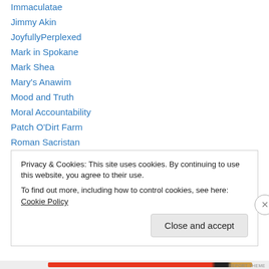Immaculatae
Jimmy Akin
JoyfullyPerplexed
Mark in Spokane
Mark Shea
Mary's Anawim
Mood and Truth
Moral Accountability
Patch O'Dirt Farm
Roman Sacristan
Spiritual Hero
Standing on My Head
Sub Tuum Praesidium
Privacy & Cookies: This site uses cookies. By continuing to use this website, you agree to their use. To find out more, including how to control cookies, see here: Cookie Policy
Close and accept